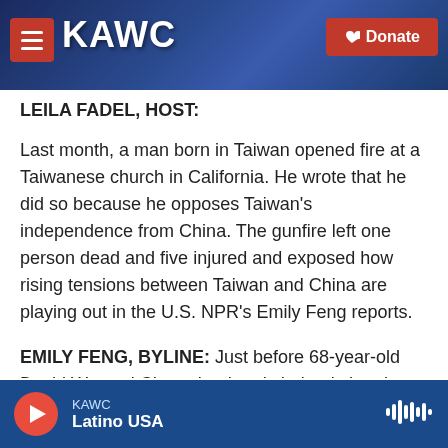KAWC — Donate
LEILA FADEL, HOST:
Last month, a man born in Taiwan opened fire at a Taiwanese church in California. He wrote that he did so because he opposes Taiwan's independence from China. The gunfire left one person dead and five injured and exposed how rising tensions between Taiwan and China are playing out in the U.S. NPR's Emily Feng reports.
EMILY FENG, BYLINE: Just before 68-year-old David Wenwei Chou glued and chained shut the doors of
KAWC — Latino USA